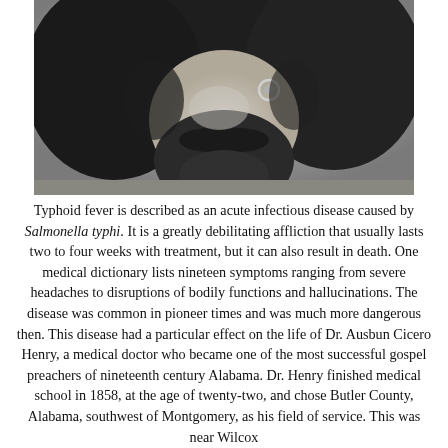[Figure (photo): Black and white historical photograph showing a close-up portrait of a person with dark beard/hair, with a small metal ring or earring visible.]
Typhoid fever is described as an acute infectious disease caused by Salmonella typhi. It is a greatly debilitating affliction that usually lasts two to four weeks with treatment, but it can also result in death. One medical dictionary lists nineteen symptoms ranging from severe headaches to disruptions of bodily functions and hallucinations. The disease was common in pioneer times and was much more dangerous then. This disease had a particular effect on the life of Dr. Ausbun Cicero Henry, a medical doctor who became one of the most successful gospel preachers of nineteenth century Alabama. Dr. Henry finished medical school in 1858, at the age of twenty-two, and chose Butler County, Alabama, southwest of Montgomery, as his field of service. This was near Wilcox